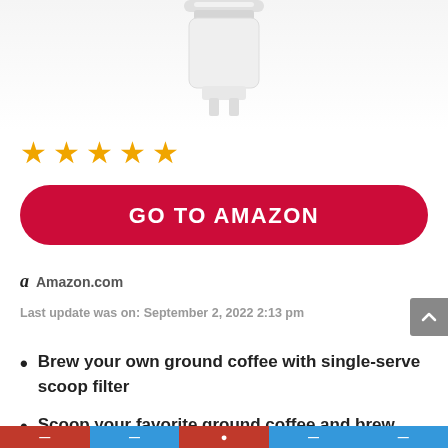[Figure (photo): Top portion of a white coffee maker appliance against a white/light gray background, showing the upper lid and body of the machine.]
[Figure (other): Five orange/gold star rating icons indicating a 5-star review.]
GO TO AMAZON
Amazon.com
Last update was on: September 2, 2022 2:13 pm
Brew your own ground coffee with single-serve scoop filter
Scoop your favorite ground coffee and brew